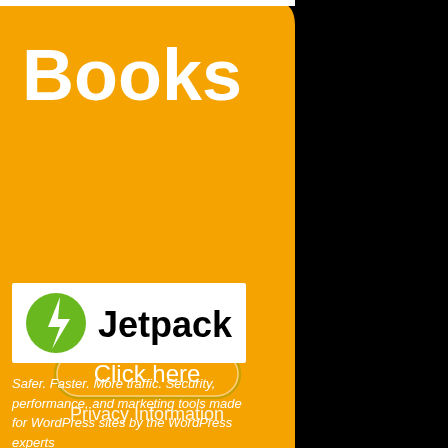[Figure (logo): Orange advertisement banner with rounded top-right corner and white text 'Books' at top, a 'Click here' button with oval outline, and 'Privacy Information' text below]
[Figure (logo): Jetpack logo on white background: green circle with white lightning bolt icon on left, black bold text 'Jetpack' on right]
Safer. Faster. More traffic. Security, performance, and marketing tools made for WordPress sites by the WordPress experts